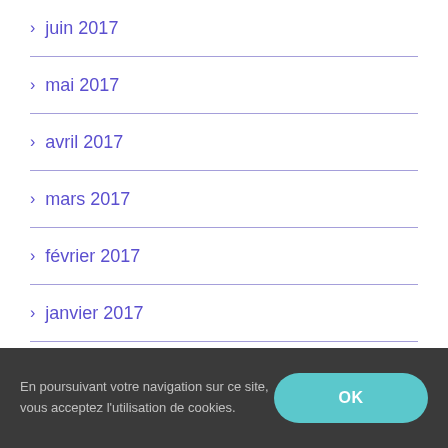> juin 2017
> mai 2017
> avril 2017
> mars 2017
> février 2017
> janvier 2017
> novembre 2016
En poursuivant votre navigation sur ce site, vous acceptez l'utilisation de cookies.  OK